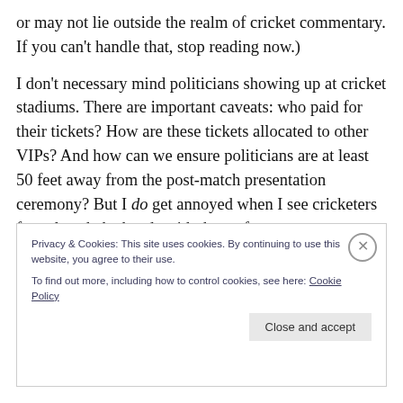or may not lie outside the realm of cricket commentary. If you can't handle that, stop reading now.)
I don't necessary mind politicians showing up at cricket stadiums. There are important caveats: who paid for their tickets? How are these tickets allocated to other VIPs? And how can we ensure politicians are at least 50 feet away from the post-match presentation ceremony? But I do get annoyed when I see cricketers forced to shake hands with them after games or tournaments.
Privacy & Cookies: This site uses cookies. By continuing to use this website, you agree to their use. To find out more, including how to control cookies, see here: Cookie Policy